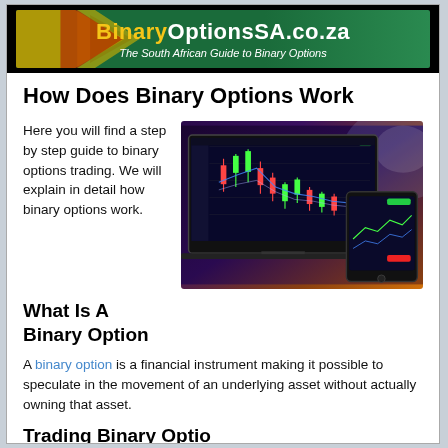BinaryOptionsSA.co.za — The South African Guide to Binary Options
How Does Binary Options Work
Here you will find a step by step guide to binary options trading. We will explain in detail how binary options work.
[Figure (screenshot): Screenshot of a binary options trading platform showing candlestick charts on a laptop and mobile phone screen]
What Is A Binary Option
A binary option is a financial instrument making it possible to speculate in the movement of an underlying asset without actually owning that asset.
Trading Binary Options